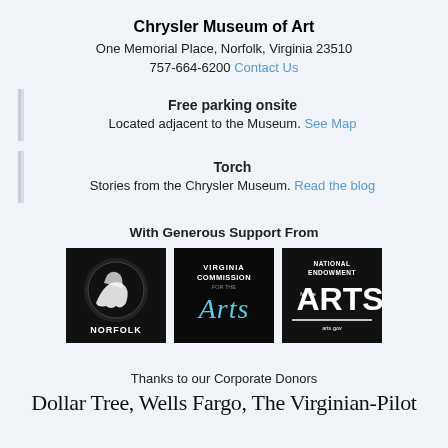Chrysler Museum of Art
One Memorial Place, Norfolk, Virginia 23510
757-664-6200 Contact Us
Free parking onsite
Located adjacent to the Museum. See Map
Torch
Stories from the Chrysler Museum. Read the blog
With Generous Support From
[Figure (logo): Three sponsor logos: City of Norfolk logo (black background with white hands), Virginia Commission for the Arts logo (black background with blue Arts text), National Endowment for the Arts logo (black background with white text)]
Thanks to our Corporate Donors
Dollar Tree, Wells Fargo, The Virginian-Pilot